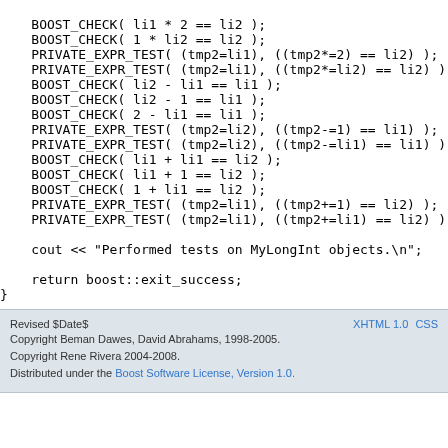BOOST_CHECK( li1 * 2 == li2 );
BOOST_CHECK( 1 * li2 == li2 );
PRIVATE_EXPR_TEST( (tmp2=li1), ((tmp2*=2) == li2) );
PRIVATE_EXPR_TEST( (tmp2=li1), ((tmp2*=li2) == li2) );
BOOST_CHECK( li2 - li1 == li1 );
BOOST_CHECK( li2 - 1 == li1 );
BOOST_CHECK( 2 - li1 == li1 );
PRIVATE_EXPR_TEST( (tmp2=li2), ((tmp2-=1) == li1) );
PRIVATE_EXPR_TEST( (tmp2=li2), ((tmp2-=li1) == li1) );
BOOST_CHECK( li1 + li1 == li2 );
BOOST_CHECK( li1 + 1 == li2 );
BOOST_CHECK( 1 + li1 == li2 );
PRIVATE_EXPR_TEST( (tmp2=li1), ((tmp2+=1) == li2) );
PRIVATE_EXPR_TEST( (tmp2=li1), ((tmp2+=li1) == li2) );

cout << "Performed tests on MyLongInt objects.\n";

return boost::exit_success;
}
Revised $Date$
Copyright Beman Dawes, David Abrahams, 1998-2005.
Copyright Rene Rivera 2004-2008.
Distributed under the Boost Software License, Version 1.0.